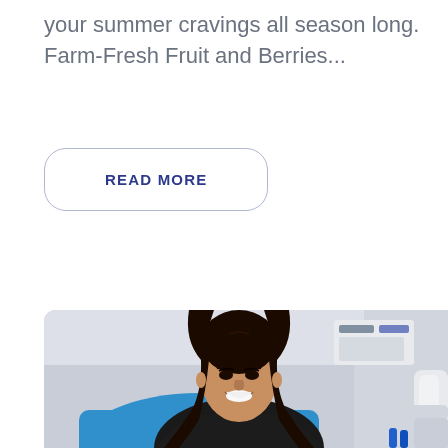your summer cravings all season long. Farm-Fresh Fruit and Berries...
READ MORE
[Figure (photo): A smiling young woman with long dark wavy hair sitting in a dental chair, wearing a white top and dark jacket, with dental equipment visible in the background.]